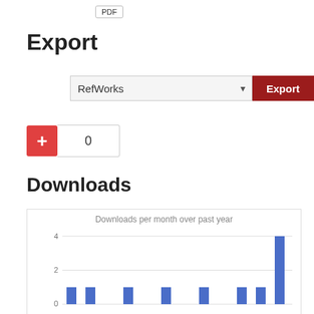[Figure (screenshot): PDF button at top of page]
Export
[Figure (screenshot): Export dropdown showing RefWorks and red Export button]
[Figure (screenshot): Plus button with count 0]
Downloads
[Figure (bar-chart): Downloads per month over past year]